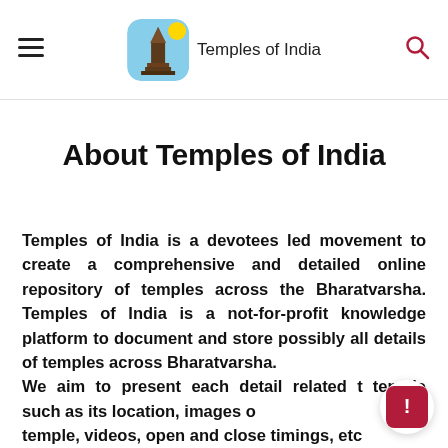Temples of India
About Temples of India
Temples of India is a devotees led movement to create a comprehensive and detailed online repository of temples across the Bharatvarsha. Temples of India is a not-for-profit knowledge platform to document and store possibly all details of temples across Bharatvarsha.
We aim to present each detail related to the temple such as its location, images of the temple, videos, open and close timings, etc